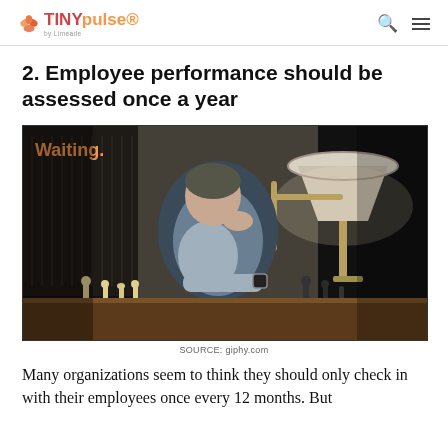TINYpulse by Limeade
2. Employee performance should be assessed once a year
[Figure (photo): A man sitting at a chess board resting his chin on his hand looking bored, with the word 'Waiting.' overlaid in orange text. Dark dramatic lighting with a lamp in the background.]
SOURCE: giphy.com
Many organizations seem to think they should only check in with their employees once every 12 months. But